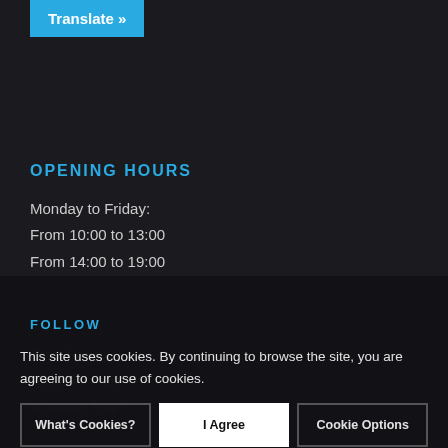Translate »
OPENING HOURS
Monday to Friday:
From 10:00 to 13:00
From 14:00 to 19:00
Saturday: appointment only
info@thorkracing.com
FOLLOW
Thork Racing
Facebook Page
Instagram Page
This site uses cookies. By continuing to browse the site, you are agreeing to our use of cookies.
What's Cookies?
I Agree
Cookie Options